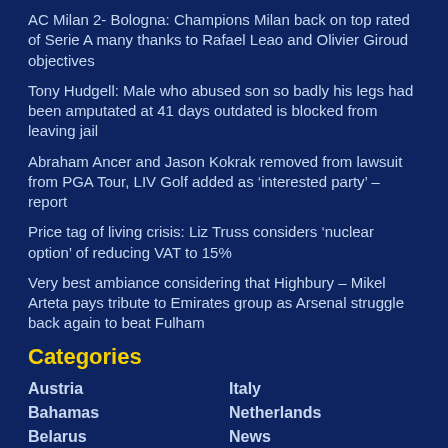AC Milan 2- Bologna: Champions Milan back on top rated of Serie A many thanks to Rafael Leao and Olivier Giroud objectives
Tony Hudgell: Male who abused son so badly his legs had been amputated at 41 days outdated is blocked from leaving jail
Abraham Ancer and Jason Kokrak removed from lawsuit from PGA Tour, LIV Golf added as ‘interested party’ – report
Price tag of living crisis: Liz Truss considers ‘nuclear option’ of reducing VAT to 15%
Very best ambiance considering that Highbury – Mikel Arteta pays tribute to Emirates group as Arsenal struggle back again to beat Fulham
Categories
Austria
Italy
Bahamas
Netherlands
Belarus
News
Belgium
Norway